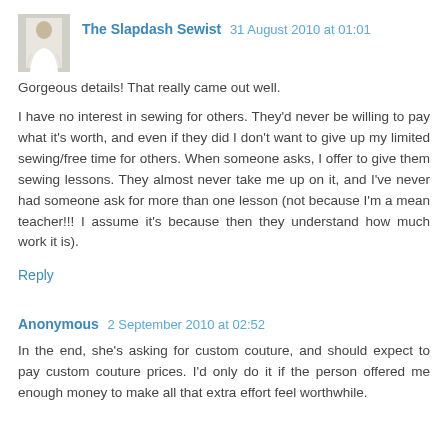The Slapdash Sewist  31 August 2010 at 01:01
Gorgeous details! That really came out well.

I have no interest in sewing for others. They'd never be willing to pay what it's worth, and even if they did I don't want to give up my limited sewing/free time for others. When someone asks, I offer to give them sewing lessons. They almost never take me up on it, and I've never had someone ask for more than one lesson (not because I'm a mean teacher!!! I assume it's because then they understand how much work it is).
Reply
Anonymous  2 September 2010 at 02:52
In the end, she's asking for custom couture, and should expect to pay custom couture prices. I'd only do it if the person offered me enough money to make all that extra effort feel worthwhile.